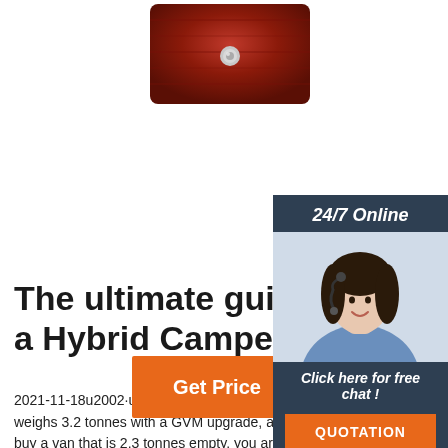[Figure (photo): Red/brown product image (possibly a camper trailer tail light or similar) at the top center of the page]
The ultimate guide to buying a Hybrid Camper
2021-11-18u2002·u2002Likewise, if your vehicle weighs 3.2 tonnes with a GVM upgrade, and you buy a van that is 2.3 tonnes empty, you are going to have a very hard time staying under GCM limits. Also consider where you plan on taking the trailer, as the bigger and heavier it is, the more powerful of a 4WD you will need to get it to certain places.
[Figure (photo): 24/7 Online chat widget with a photo of a woman wearing a headset, with 'Click here for free chat!' text and an orange QUOTATION button]
Get Price